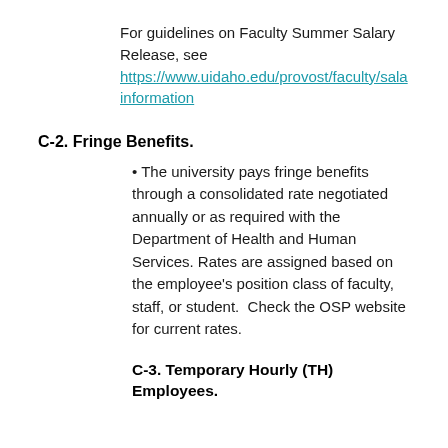For guidelines on Faculty Summer Salary Release, see https://www.uidaho.edu/provost/faculty/sala... information
C-2. Fringe Benefits.
The university pays fringe benefits through a consolidated rate negotiated annually or as required with the Department of Health and Human Services. Rates are assigned based on the employee's position class of faculty, staff, or student.  Check the OSP website for current rates.
C-3. Temporary Hourly (TH) Employees.